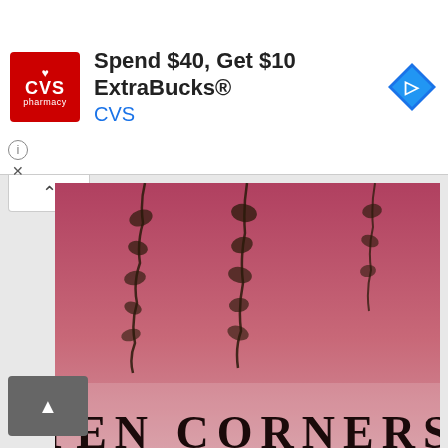[Figure (screenshot): CVS Pharmacy advertisement banner: red CVS logo on left, text 'Spend $40, Get $10 ExtraBucks® CVS' in center, blue navigation diamond icon on right]
[Figure (illustration): Ten Corners book/album cover with pink-red gradient background, dark botanical vine decorations hanging from top, and 'TEN CORNERS' text in large serif font at bottom]
□□□□□□□□
Download Source